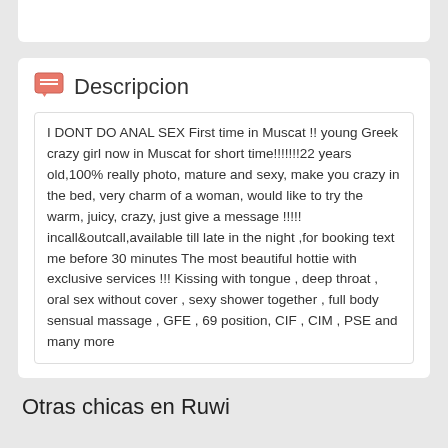Descripcion
I DONT DO ANAL SEX First time in Muscat !! young Greek crazy girl now in Muscat for short time!!!!!!!22 years old,100% really photo, mature and sexy, make you crazy in the bed, very charm of a woman, would like to try the warm, juicy, crazy, just give a message !!!!! incall&outcall,available till late in the night ,for booking text me before 30 minutes The most beautiful hottie with exclusive services !!! Kissing with tongue , deep throat , oral sex without cover , sexy shower together , full body sensual massage , GFE , 69 position, CIF , CIM , PSE and many more
Otras chicas en Ruwi